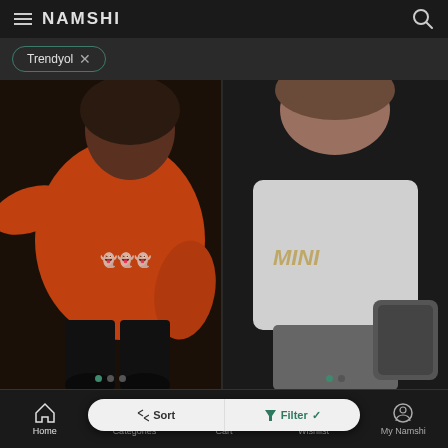NAMSHI
Trendyol ×
[Figure (photo): Child wearing orange Halloween sweatshirt with black pants and boots, jumping pose]
[Figure (photo): Child wearing white graphic t-shirt with grey pants, partial view]
Trendyol
Kids Halloween Swe...
15.35 BHD  9.31 BHD
...tshirt
11.40 BHD  8.28 BHD
Home  Categories  Cart  Wishlist  My Namshi